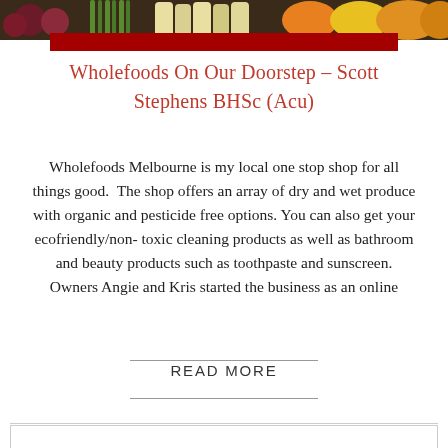[Figure (photo): Photo strip of assorted vegetables and produce at the top of the page, with a dark red bar below it]
Wholefoods On Our Doorstep – Scott Stephens BHSc (Acu)
Wholefoods Melbourne is my local one stop shop for all things good.  The shop offers an array of dry and wet produce with organic and pesticide free options. You can also get your ecofriendly/non- toxic cleaning products as well as bathroom and beauty products such as toothpaste and sunscreen. Owners Angie and Kris started the business as an online
READ MORE